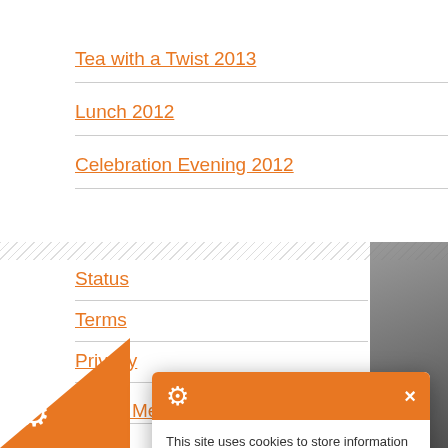Tea with a Twist 2013
Lunch 2012
Celebration Evening 2012
Status
Terms
Privacy
CSR
Social Media Policy
This site uses cookies to store information on your computer.

Some of these cookies are essential to make our site work and others help us to improve by giving us some insight into how the site is being used.
I'm fine with this